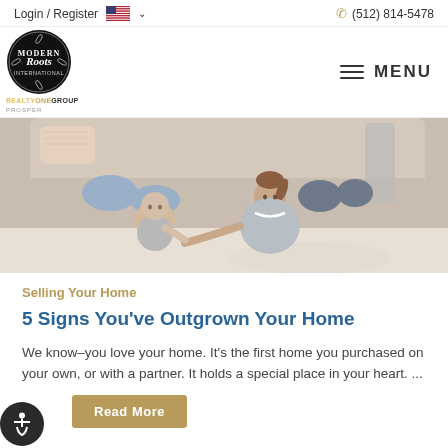Login / Register  (512) 814-5478
[Figure (logo): Modern Roots real estate circular black logo with botanical decorative border]
REALTY ONE GROUP PROSPER
[Figure (photo): Family with two children sitting on the floor in front of a couch in a living room]
Selling Your Home
5 Signs You've Outgrown Your Home
We know–you love your home. It's the first home you purchased on your own, or with a partner. It holds a special place in your heart. ...
Read More